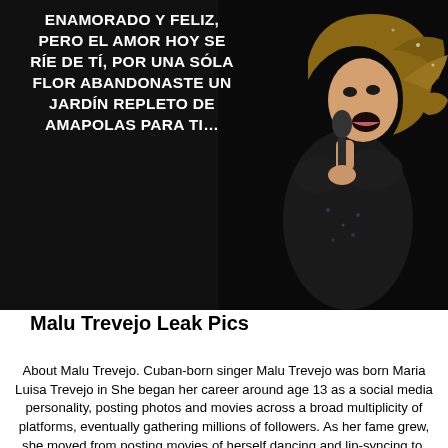[Figure (photo): Dark background image of a female singer performing on stage holding a microphone, wearing a black sequined outfit with hair blowing, overlaid with Spanish text lyrics in white bold uppercase.]
Malu Trevejo Leak Pics
About Malu Trevejo. Cuban-born singer Malu Trevejo was born Maria Luisa Trevejo in She began her career around age 13 as a social media personality, posting photos and movies across a broad multiplicity of platforms, eventually gathering millions of followers. As her fame grew, she moved from posting movies of herself dancing and lip-syncing to. Oct 22,  · Cuban-born singer Malu Trevejo was born Maria Luisa Trevejo in She began her career around age 13 as a social media personality, posting photos and movies across a broad diversity of platforms, eventually gathering millions of followers. As her fame grew, she moved from posting movies of herself dancing and lip-syncing to working on music of. iTunes chart spectacle for HRVY & Malu Trevejo. iTunes Charts Choose a country Choose a country United Kingdom United States Germany France Italy Canada Spain Australia Brazil Switch